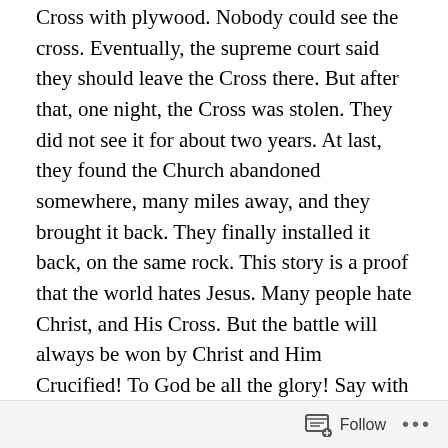Cross with plywood. Nobody could see the cross. Eventually, the supreme court said they should leave the Cross there. But after that, one night, the Cross was stolen. They did not see it for about two years. At last, they found the Church abandoned somewhere, many miles away, and they brought it back. They finally installed it back, on the same rock. This story is a proof that the world hates Jesus. Many people hate Christ, and His Cross. But the battle will always be won by Christ and Him Crucified! To God be all the glory! Say with me: Jesus is The Lord! (The pictures are taken from Google. You see the Cross in Mojave Desert as it stands today and in the past when it was boarded with plywood)
[Figure (photo): Photo of the Mojave Desert Cross against a blue sky, showing a white cross structure on a rocky formation]
Follow ···